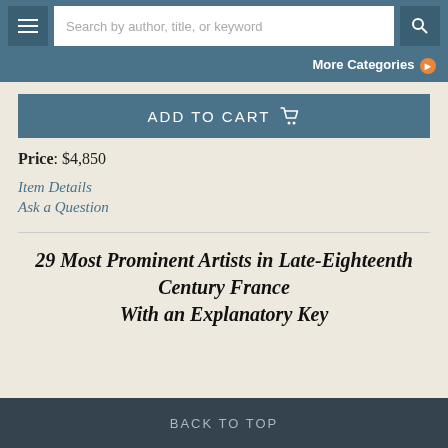Search by author, title, or keyword
More Categories
ADD TO CART
Price: $4,850
Item Details
Ask a Question
29 Most Prominent Artists in Late-Eighteenth Century France
With an Explanatory Key
BACK TO TOP